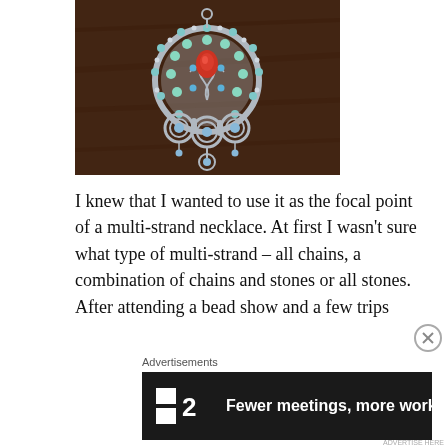[Figure (photo): A decorative silver pendant/brooch with a red teardrop gemstone at the center, surrounded by turquoise and blue beaded accents, with scrollwork metalwork, on a dark brown wooden surface.]
I knew that I wanted to use it as the focal point of a multi-strand necklace. At first I wasn't sure what type of multi-strand – all chains, a combination of chains and stones or all stones. After attending a bead show and a few trips
Advertisements
[Figure (screenshot): Advertisement banner for Flat2 (F2) with dark background and text: Fewer meetings, more work.]